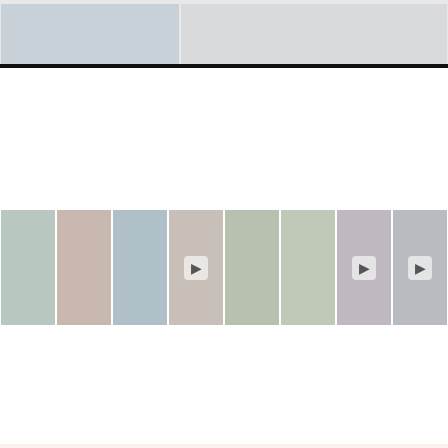[Figure (photo): Top strip showing two interior/closet photos with black bar below]
[Figure (photo): Instagram photo strip with 8 thumbnail images of outdoor and lifestyle scenes]
FACEBOOK   TWITTER   YOUTUBE   INSTAGRAM   BLOGLOVIN   PINTEREST
COPYRIGHT 2022 BY ALEX GLADWIN BLOG – BLOG DESIGN BY GEORGIA LOU STUDIOS